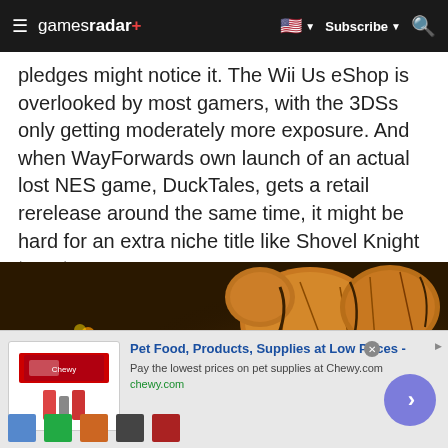gamesradar+  Subscribe
pledges might notice it. The Wii Us eShop is overlooked by most gamers, with the 3DSs only getting moderately more exposure. And when WayForwards own launch of an actual lost NES game, DuckTales, gets a retail rerelease around the same time, it might be hard for an extra niche title like Shovel Knight to get any exposure.
[Figure (screenshot): Screenshot from a fantasy/action video game showing armored characters and large rock formations in a dark, fiery environment.]
Pet Food, Products, Supplies at Low Prices - Pay the lowest prices on pet supplies at Chewy.com chewy.com